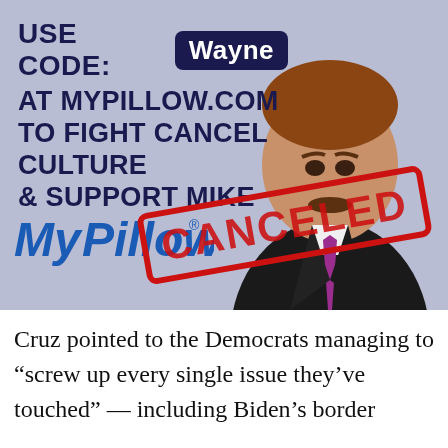[Figure (infographic): MyPillow advertisement showing text 'USE CODE: Wayne AT MYPILLOW.COM TO FIGHT CANCEL CULTURE & SUPPORT MIKE' with MyPillow logo, a photo of Mike Lindell, and a red CANCELED stamp overlay. Background is light blue-gray.]
Cruz pointed to the Democrats managing to “screw up every single issue they’ve touched” — including Biden’s border